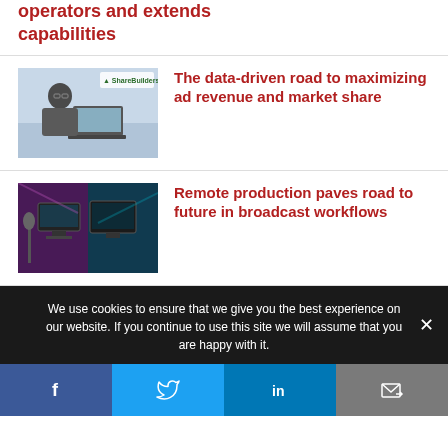operators and extends capabilities
[Figure (photo): Man working on laptop at desk, ShareBuilders logo visible]
The data-driven road to maximizing ad revenue and market share
[Figure (photo): Remote production broadcast equipment in studio, purple/teal toned]
Remote production paves road to future in broadcast workflows
We use cookies to ensure that we give you the best experience on our website. If you continue to use this site we will assume that you are happy with it.
Facebook | Twitter | LinkedIn | Email share buttons